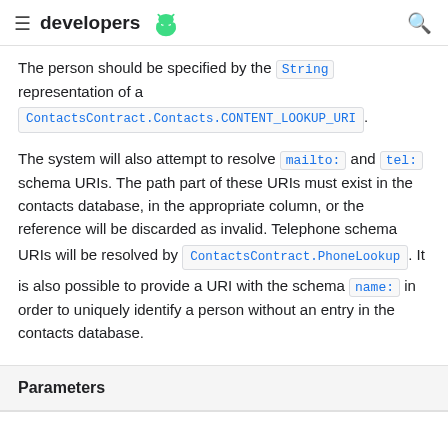developers
The person should be specified by the String representation of a ContactsContract.Contacts.CONTENT_LOOKUP_URI.
The system will also attempt to resolve mailto: and tel: schema URIs. The path part of these URIs must exist in the contacts database, in the appropriate column, or the reference will be discarded as invalid. Telephone schema URIs will be resolved by ContactsContract.PhoneLookup . It is also possible to provide a URI with the schema name: in order to uniquely identify a person without an entry in the contacts database.
Parameters